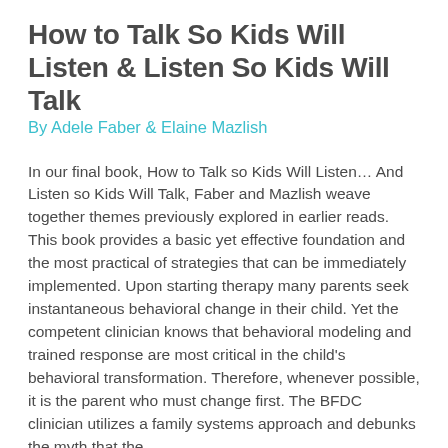How to Talk So Kids Will Listen & Listen So Kids Will Talk
By Adele Faber & Elaine Mazlish
In our final book, How to Talk so Kids Will Listen… And Listen so Kids Will Talk, Faber and Mazlish weave together themes previously explored in earlier reads. This book provides a basic yet effective foundation and the most practical of strategies that can be immediately implemented. Upon starting therapy many parents seek instantaneous behavioral change in their child. Yet the competent clinician knows that behavioral modeling and trained response are most critical in the child's behavioral transformation. Therefore, whenever possible, it is the parent who must change first. The BFDC clinician utilizes a family systems approach and debunks the myth that the